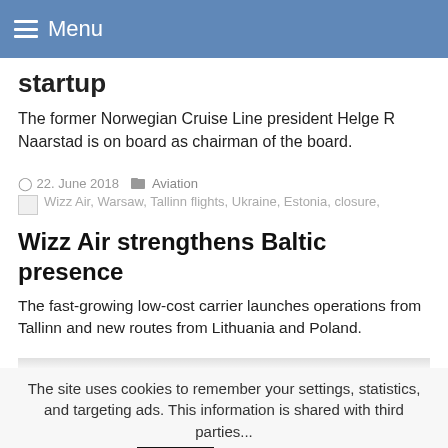Menu
startup
The former Norwegian Cruise Line president Helge R Naarstad is on board as chairman of the board.
22. June 2018   Aviation
Wizz Air, Warsaw, Tallinn flights, Ukraine, Estonia, closure,
Wizz Air strengthens Baltic presence
The fast-growing low-cost carrier launches operations from Tallinn and new routes from Lithuania and Poland.
The site uses cookies to remember your settings, statistics, and targeting ads. This information is shared with third parties...
Ok   Read more